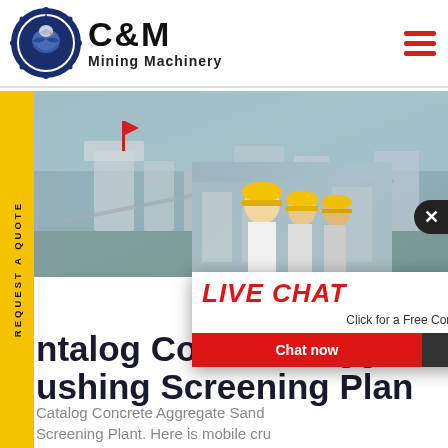[Figure (logo): C&M Mining Machinery logo with eagle/gear icon in dark blue circle]
C&M Mining Machinery
[Figure (photo): Mining/crushing machinery equipment in outdoor industrial setting]
REQUEST A QUOTE
[Figure (screenshot): Live chat popup overlay with workers in hard hats, LIVE CHAT title in red italic, 'Click for a Free Consultation', Chat now (red) and Chat later (dark) buttons]
[Figure (photo): Customer service agent woman with headset on right side panel, Click to Chat blue button, Enquiry text below]
ntalog Concrete Aggre ishing Screening Plan
Catalog Concrete Aggregate Sand Crushing Screening Plant. Here is mobile cru Screening Plant.